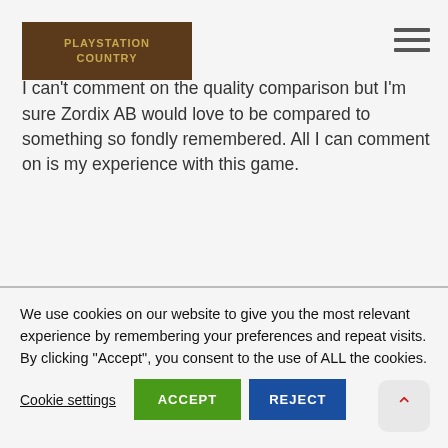PLAYSTATION COUNTRY
As you might be able to guess from the title and you definitely can tell from the image this is a jet ski racer a la Wave Race 64. Not owning a Nintendo 64 I can't comment on the quality comparison but I'm sure Zordix AB would love to be compared to something so fondly remembered. All I can comment on is my experience with this game.
We use cookies on our website to give you the most relevant experience by remembering your preferences and repeat visits. By clicking “Accept”, you consent to the use of ALL the cookies.